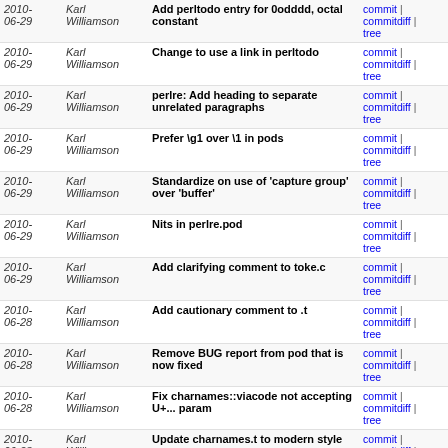| Date | Author | Commit message | Links |
| --- | --- | --- | --- |
| 2010-06-29 | Karl Williamson | Add perltodo entry for 0odddd, octal constant | commit | commitdiff | tree |
| 2010-06-29 | Karl Williamson | Change to use a link in perltodo | commit | commitdiff | tree |
| 2010-06-29 | Karl Williamson | perlre: Add heading to separate unrelated paragraphs | commit | commitdiff | tree |
| 2010-06-29 | Karl Williamson | Prefer \g1 over \1 in pods | commit | commitdiff | tree |
| 2010-06-29 | Karl Williamson | Standardize on use of 'capture group' over 'buffer' | commit | commitdiff | tree |
| 2010-06-29 | Karl Williamson | Nits in perlre.pod | commit | commitdiff | tree |
| 2010-06-29 | Karl Williamson | Add clarifying comment to toke.c | commit | commitdiff | tree |
| 2010-06-28 | Karl Williamson | Add cautionary comment to .t | commit | commitdiff | tree |
| 2010-06-28 | Karl Williamson | Remove BUG report from pod that is now fixed | commit | commitdiff | tree |
| 2010-06-28 | Karl Williamson | Fix charnames::viacode not accepting U+... param | commit | commitdiff | tree |
| 2010-06-28 | Karl Williamson | Update charnames.t to modern style | commit | commitdiff | tree |
| 2010-06-18 | Karl Williamson | Deprecate no space between pattern, following word | commit | commitdiff | tree |
| 2010- | Karl | uc(): Handle Greek | commit | commitdiff | |